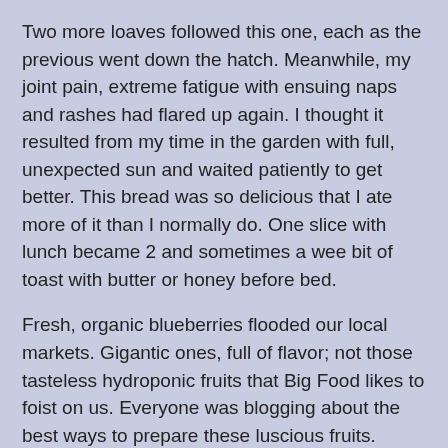Two more loaves followed this one, each as the previous went down the hatch. Meanwhile, my joint pain, extreme fatigue with ensuing naps and rashes had flared up again. I thought it resulted from my time in the garden with full, unexpected sun and waited patiently to get better. This bread was so delicious that I ate more of it than I normally do. One slice with lunch became 2 and sometimes a wee bit of toast with butter or honey before bed.
Fresh, organic blueberries flooded our local markets. Gigantic ones, full of flavor; not those tasteless hydroponic fruits that Big Food likes to foist on us. Everyone was blogging about the best ways to prepare these luscious fruits. Blueberry pie, Hubbers' fave, was executed and consumed with gusto! Hand pie experiments were highly rewarding, as well. And then I discovered the GlutenFreeGoddess' Blueberry Muffin Cake recipe. Down to the Buckwheat Flour, I was fully prepared to test drive this one!
In the most completely objective terms, it was hands-down